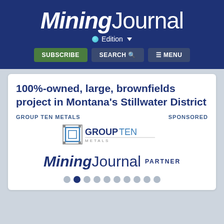Mining Journal
Edition
SUBSCRIBE   SEARCH   MENU
100%-owned, large, brownfields project in Montana's Stillwater District
GROUP TEN METALS   SPONSORED
[Figure (logo): Group Ten Metals logo - stylized square brackets with GROUPTEN METALS text]
[Figure (logo): Mining Journal logo with PARTNER label]